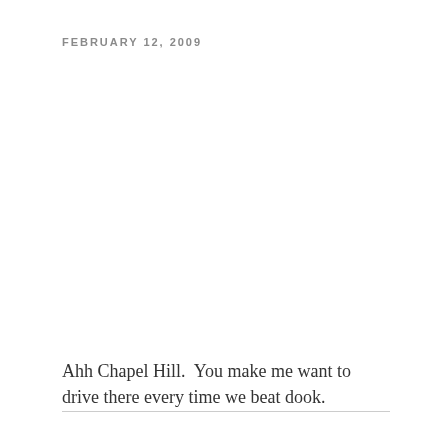FEBRUARY 12, 2009
Ahh Chapel Hill.  You make me want to drive there every time we beat dook.